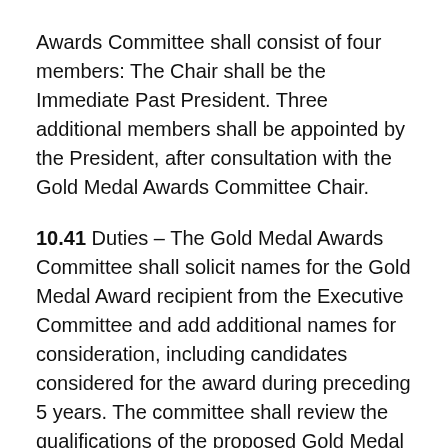Awards Committee shall consist of four members: The Chair shall be the Immediate Past President. Three additional members shall be appointed by the President, after consultation with the Gold Medal Awards Committee Chair.
10.41 Duties – The Gold Medal Awards Committee shall solicit names for the Gold Medal Award recipient from the Executive Committee and add additional names for consideration, including candidates considered for the award during preceding 5 years. The committee shall review the qualifications of the proposed Gold Medal Award candidates and propose one recipient at least 60 days prior to the Annual Meeting for approval by the Executive Committee. In the event that the proposed nominee is not approved by the Executive Committee, the Gold Medal Awards Committee shall propose a new recipient for approval by the Executive Committee.